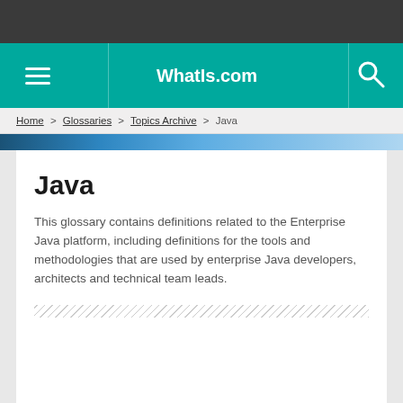WhatIs.com
Home > Glossaries > Topics Archive > Java
Java
This glossary contains definitions related to the Enterprise Java platform, including definitions for the tools and methodologies that are used by enterprise Java developers, architects and technical team leads.